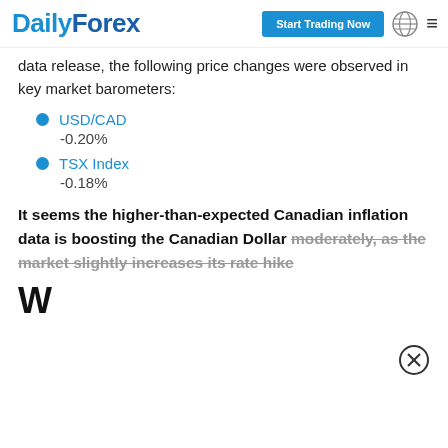DailyForex | Start Trading Now
data release, the following price changes were observed in key market barometers:
USD/CAD
-0.20%
TSX Index
-0.18%
It seems the higher-than-expected Canadian inflation data is boosting the Canadian Dollar moderately, as the market slightly increases its rate hike
W